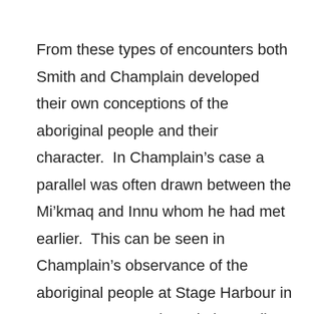From these types of encounters both Smith and Champlain developed their own conceptions of the aboriginal people and their character.  In Champlain's case a parallel was often drawn between the Mi'kmaq and Innu whom he had met earlier.  This can be seen in Champlain's observance of the aboriginal people at Stage Harbour in 1606: “Pour ce qui est de leur police, gouuernement & creance, nous n’en auons peu iuger, & croy qu'ils n’en ont point d’autre que nos sauuages Souriquois, & Canadiens, lesquels n'adorent n'y la lune n'y le soleil, ny aucune